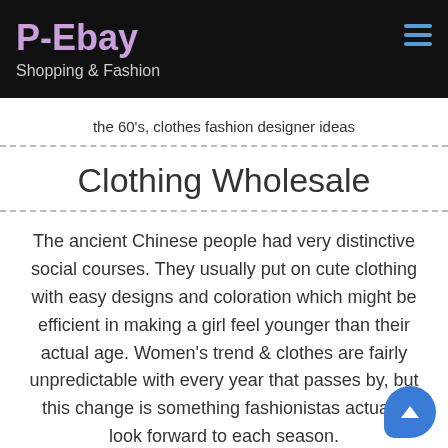P-Ebay
Shopping & Fashion
the 60's, clothes fashion designer ideas
Clothing Wholesale
The ancient Chinese people had very distinctive social courses. They usually put on cute clothing with easy designs and coloration which might be efficient in making a girl feel younger than their actual age. Women's trend & clothes are fairly unpredictable with every year that passes by, but this change is something fashionistas actually look forward to each season.
Thought of an urban model, the mods often fought